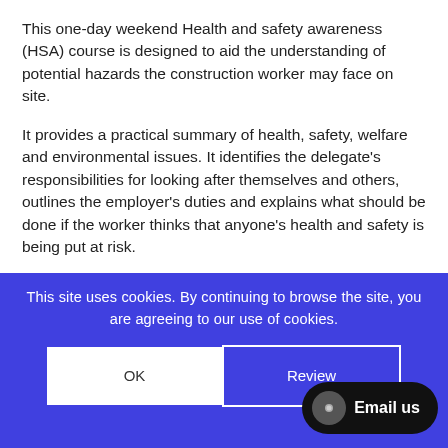This one-day weekend Health and safety awareness (HSA) course is designed to aid the understanding of potential hazards the construction worker may face on site.
It provides a practical summary of health, safety, welfare and environmental issues. It identifies the delegate’s responsibilities for looking after themselves and others, outlines the employer’s duties and explains what should be done if the worker thinks that anyone’s health and safety is being put at risk.
The course is an ideal foundation for those wishing to obtain an industry site card. It is also an alternative
This site uses cookies. By continuing to browse the site, you are agreeing to our use of cookies.